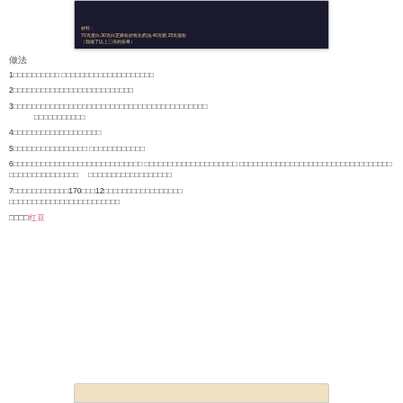[Figure (photo): Dark background food/recipe image with Chinese text overlay showing ingredients: 70克蛋白,30克白芝麻粉炒氧化奶油,40克糖,25克低粉（我做了以上三倍的份量）]
做法
1□□□□□□□□□□ □□□□□□□□□□□□□□□□□□□
2□□□□□□□□□□□□□□□□□□□□□□□□□□
3□□□□□□□□□□□□□□□□□□□□□□□□□□□□□□□□□□□□□□□□□
□□□□□□□□□□□
4□□□□□□□□□□□□□□□□□□
5□□□□□□□□□□□□□□□□ □□□□□□□□□□□□
6□□□□□□□□□□□□□□□□□□□□□□□□□□□□ □□□□□□□□□□□□□□□□□□□□ □□□□□□□□□□□□□□□□□□□□□□□□□□□□□□□□□
□□□□□□□□□□□□□□□  □□□□□□□□□□□□□□□□□□
7□□□□□□□□□□□□170□□□12□□□□□□□□□□□□□□□□□
 □□□□□□□□□□□□□□□□□□□□□□□
□□□□红豆
[Figure (photo): Food photo at bottom of page, partially visible]